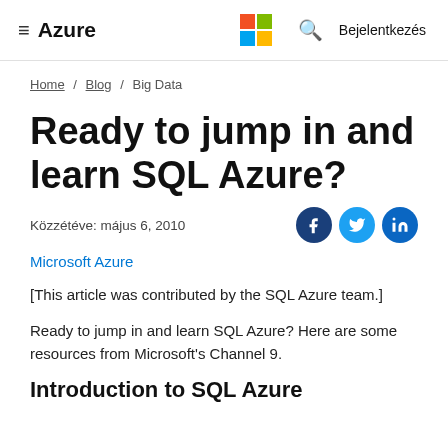≡ Azure  [Microsoft logo]  🔍 Bejelentkezés
Home / Blog / Big Data
Ready to jump in and learn SQL Azure?
Közzétéve: május 6, 2010
Microsoft Azure
[This article was contributed by the SQL Azure team.]
Ready to jump in and learn SQL Azure? Here are some resources from Microsoft's Channel 9.
Introduction to SQL Azure